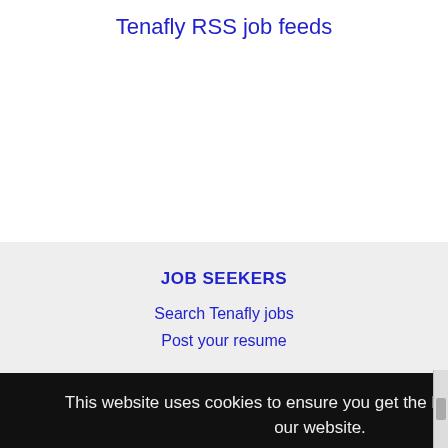Tenafly RSS job feeds
JOB SEEKERS
Search Tenafly jobs
Post your resume
This website uses cookies to ensure you get the best experience on our website.
Learn more
Got it!
Advertise